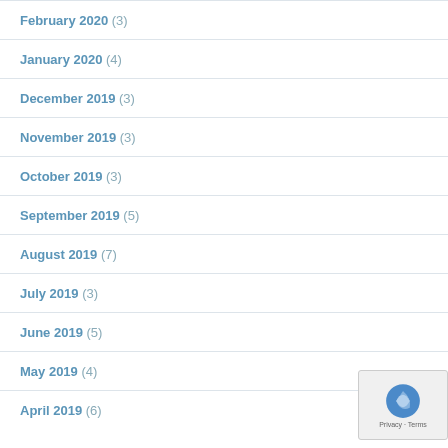February 2020 (3)
January 2020 (4)
December 2019 (3)
November 2019 (3)
October 2019 (3)
September 2019 (5)
August 2019 (7)
July 2019 (3)
June 2019 (5)
May 2019 (4)
April 2019 (6)